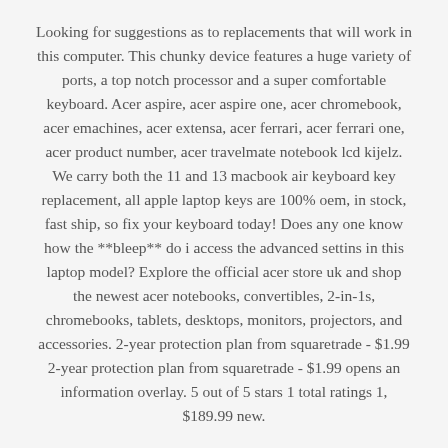Looking for suggestions as to replacements that will work in this computer. This chunky device features a huge variety of ports, a top notch processor and a super comfortable keyboard. Acer aspire, acer aspire one, acer chromebook, acer emachines, acer extensa, acer ferrari, acer ferrari one, acer product number, acer travelmate notebook lcd kijelz. We carry both the 11 and 13 macbook air keyboard key replacement, all apple laptop keys are 100% oem, in stock, fast ship, so fix your keyboard today! Does any one know how the **bleep** do i access the advanced settins in this laptop model? Explore the official acer store uk and shop the newest acer notebooks, convertibles, 2-in-1s, chromebooks, tablets, desktops, monitors, projectors, and accessories. 2-year protection plan from squaretrade - $1.99 2-year protection plan from squaretrade - $1.99 opens an information overlay. 5 out of 5 stars 1 total ratings 1, $189.99 new.